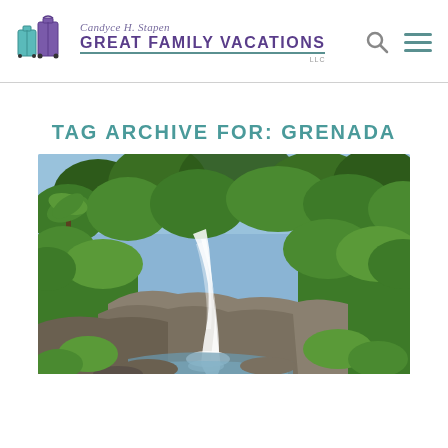Candyce H. Stapen Great Family Vacations LLC
TAG ARCHIVE FOR: GRENADA
[Figure (photo): A waterfall cascading over rocks surrounded by lush green tropical vegetation and trees, with a blue sky visible in the background. The waterfall flows with a silky smooth appearance suggesting a long exposure photograph.]